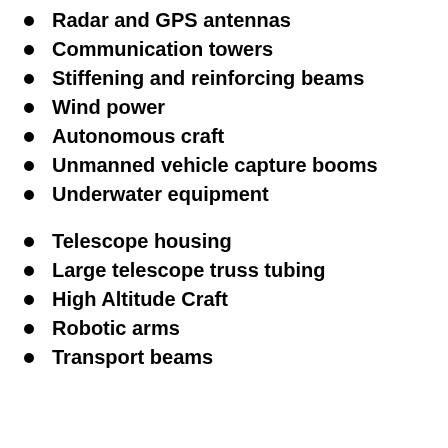Radar and GPS antennas
Communication towers
Stiffening and reinforcing beams
Wind power
Autonomous craft
Unmanned vehicle capture booms
Underwater equipment
Telescope housing
Large telescope truss tubing
High Altitude Craft
Robotic arms
Transport beams